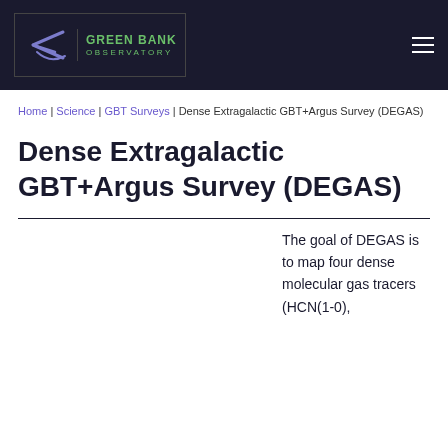Green Bank Observatory
Home | Science | GBT Surveys | Dense Extragalactic GBT+Argus Survey (DEGAS)
Dense Extragalactic GBT+Argus Survey (DEGAS)
The goal of DEGAS is to map four dense molecular gas tracers (HCN(1-0),